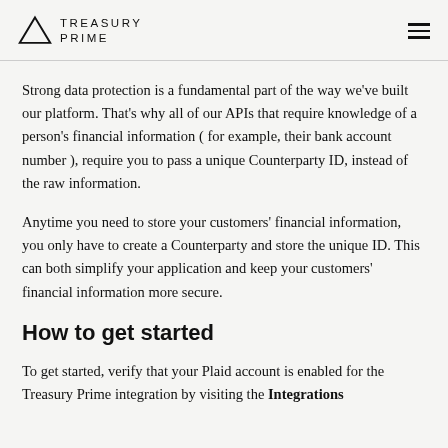TREASURY PRIME
Strong data protection is a fundamental part of the way we've built our platform. That's why all of our APIs that require knowledge of a person's financial information ( for example, their bank account number ), require you to pass a unique Counterparty ID, instead of the raw information.
Anytime you need to store your customers' financial information, you only have to create a Counterparty and store the unique ID. This can both simplify your application and keep your customers' financial information more secure.
How to get started
To get started, verify that your Plaid account is enabled for the Treasury Prime integration by visiting the Integrations